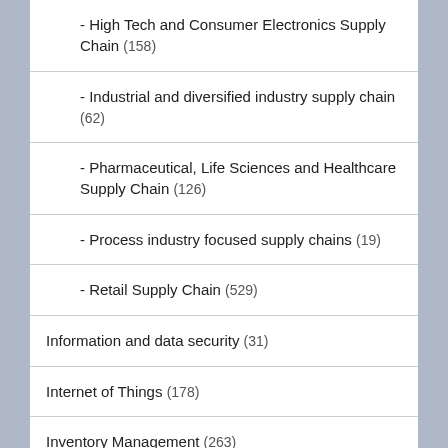- High Tech and Consumer Electronics Supply Chain (158)
- Industrial and diversified industry supply chain (62)
- Pharmaceutical, Life Sciences and Healthcare Supply Chain (126)
- Process industry focused supply chains (19)
- Retail Supply Chain (529)
Information and data security (31)
Internet of Things (178)
Inventory Management (263)